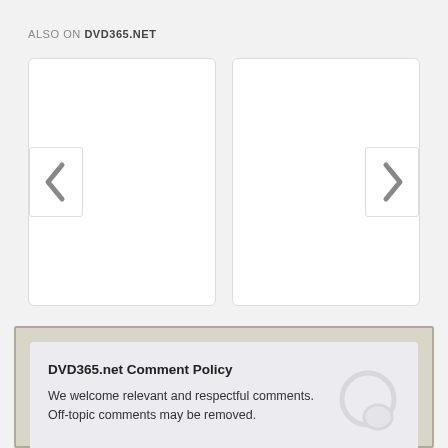ALSO ON DVD365.NET
[Figure (screenshot): Two white cards side by side with left chevron navigation button on the left card and right chevron navigation button on the right card, on a light gray background]
DVD365.net Comment Policy
We welcome relevant and respectful comments. Off-topic comments may be removed.